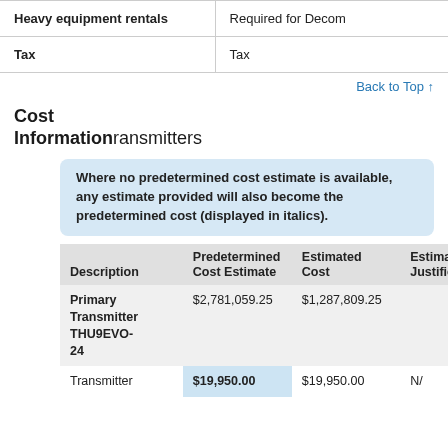|  |  |
| --- | --- |
| Heavy equipment rentals | Required for Decom |
| Tax | Tax |
Back to Top ↑
Cost Information / Transmitters
Where no predetermined cost estimate is available, any estimate provided will also become the predetermined cost (displayed in italics).
| Description | Predetermined Cost Estimate | Estimated Cost | Estimated Justification |
| --- | --- | --- | --- |
| Primary Transmitter THU9EVO-24 | $2,781,059.25 | $1,287,809.25 |  |
| Transmitter | $19,950.00 | $19,950.00 | N/ |